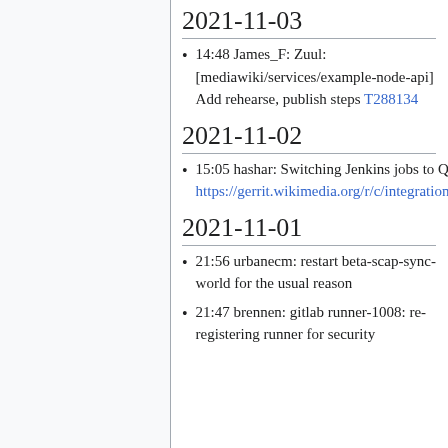2021-11-03
14:48 James_F: Zuul: [mediawiki/services/example-node-api] Add rehearse, publish steps T288134
2021-11-02
15:05 hashar: Switching Jenkins jobs to Quibble 1.2.0 https://gerrit.wikimedia.org/r/c/integration/config/+/736240
2021-11-01
21:56 urbanecm: restart beta-scap-sync-world for the usual reason
21:47 brennen: gitlab runner-1008: re-registering runner for security